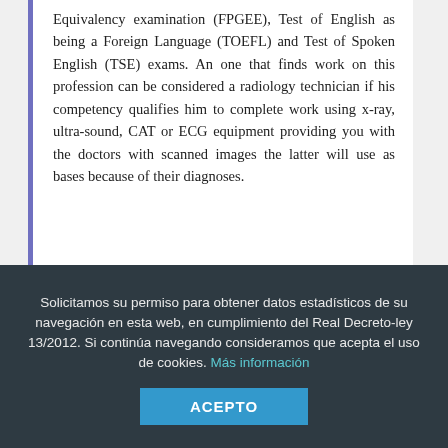Equivalency examination (FPGEE), Test of English as being a Foreign Language (TOEFL) and Test of Spoken English (TSE) exams. An one that finds work on this profession can be considered a radiology technician if his competency qualifies him to complete work using x-ray, ultra-sound, CAT or ECG equipment providing you with the doctors with scanned images the latter will use as bases because of their diagnoses.
Solicitamos su permiso para obtener datos estadísticos de su navegación en esta web, en cumplimiento del Real Decreto-ley 13/2012. Si continúa navegando consideramos que acepta el uso de cookies. Más información